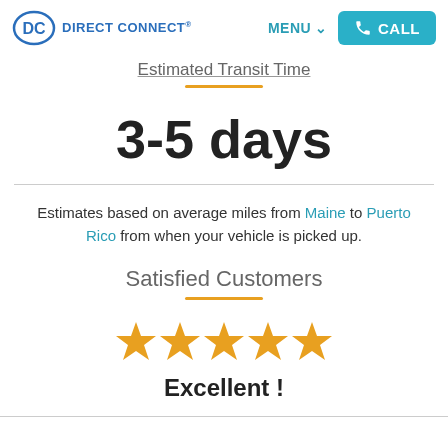DC DIRECT CONNECT® | MENU ∨ | CALL
Estimated Transit Time
3-5 days
Estimates based on average miles from Maine to Puerto Rico from when your vehicle is picked up.
Satisfied Customers
[Figure (other): Five gold star rating icons]
Excellent !